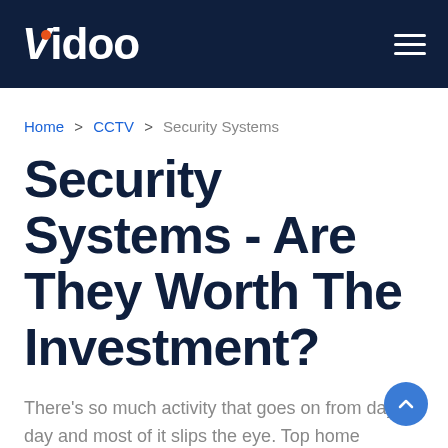Vidoo
Home > CCTV > Security Systems
Security Systems - Are They Worth The Investment?
There's so much activity that goes on from day to day and most of it slips the eye. Top home